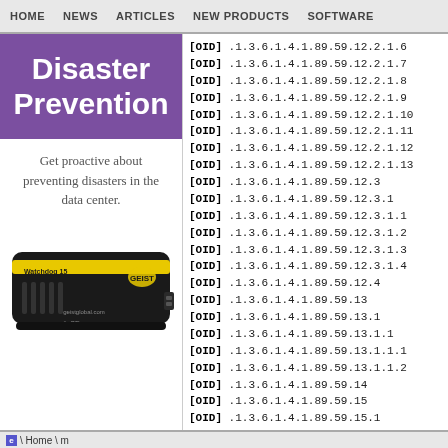HOME  NEWS  ARTICLES  NEW PRODUCTS  SOFTWARE
Disaster Prevention
Get proactive about preventing disasters in the data center.
[Figure (photo): A black hardware device (Watchdog 15) with yellow stripe, labeled geiglobal.com, with CE mark]
[OID] .1.3.6.1.4.1.89.59.12.2.1.6
[OID] .1.3.6.1.4.1.89.59.12.2.1.7
[OID] .1.3.6.1.4.1.89.59.12.2.1.8
[OID] .1.3.6.1.4.1.89.59.12.2.1.9
[OID] .1.3.6.1.4.1.89.59.12.2.1.10
[OID] .1.3.6.1.4.1.89.59.12.2.1.11
[OID] .1.3.6.1.4.1.89.59.12.2.1.12
[OID] .1.3.6.1.4.1.89.59.12.2.1.13
[OID] .1.3.6.1.4.1.89.59.12.3
[OID] .1.3.6.1.4.1.89.59.12.3.1
[OID] .1.3.6.1.4.1.89.59.12.3.1.1
[OID] .1.3.6.1.4.1.89.59.12.3.1.2
[OID] .1.3.6.1.4.1.89.59.12.3.1.3
[OID] .1.3.6.1.4.1.89.59.12.3.1.4
[OID] .1.3.6.1.4.1.89.59.12.4
[OID] .1.3.6.1.4.1.89.59.13
[OID] .1.3.6.1.4.1.89.59.13.1
[OID] .1.3.6.1.4.1.89.59.13.1.1
[OID] .1.3.6.1.4.1.89.59.13.1.1.1
[OID] .1.3.6.1.4.1.89.59.13.1.1.2
[OID] .1.3.6.1.4.1.89.59.14
[OID] .1.3.6.1.4.1.89.59.15
[OID] .1.3.6.1.4.1.89.59.15.1
[OID] .1.3.6.1.4.1.89.59.15.1.1
[OID] .1.3.6.1.4.1.89.59.15.1.1.1
\ Home \ m